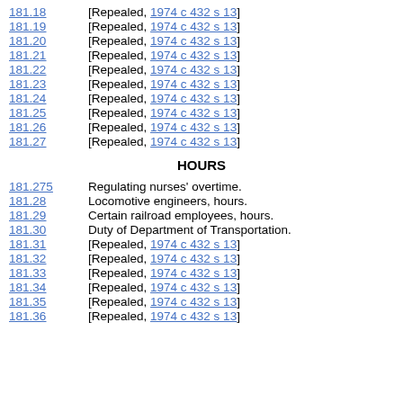181.18   [Repealed, 1974 c 432 s 13]
181.19   [Repealed, 1974 c 432 s 13]
181.20   [Repealed, 1974 c 432 s 13]
181.21   [Repealed, 1974 c 432 s 13]
181.22   [Repealed, 1974 c 432 s 13]
181.23   [Repealed, 1974 c 432 s 13]
181.24   [Repealed, 1974 c 432 s 13]
181.25   [Repealed, 1974 c 432 s 13]
181.26   [Repealed, 1974 c 432 s 13]
181.27   [Repealed, 1974 c 432 s 13]
HOURS
181.275   Regulating nurses' overtime.
181.28   Locomotive engineers, hours.
181.29   Certain railroad employees, hours.
181.30   Duty of Department of Transportation.
181.31   [Repealed, 1974 c 432 s 13]
181.32   [Repealed, 1974 c 432 s 13]
181.33   [Repealed, 1974 c 432 s 13]
181.34   [Repealed, 1974 c 432 s 13]
181.35   [Repealed, 1974 c 432 s 13]
181.36   [Repealed, 1974 c 432 s 13]